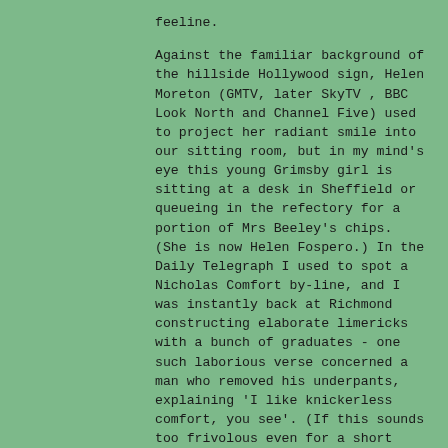feeline.

Against the familiar background of the hillside Hollywood sign, Helen Moreton (GMTV, later SkyTV , BBC Look North and Channel Five) used to project her radiant smile into our sitting room, but in my mind's eye this young Grimsby girl is sitting at a desk in Sheffield or queueing in the refectory for a portion of Mrs Beeley's chips. (She is now Helen Fospero.) In the Daily Telegraph I used to spot a Nicholas Comfort by-line, and I was instantly back at Richmond constructing elaborate limericks with a bunch of graduates - one such laborious verse concerned a man who removed his underpants, explaining 'I like knickerless comfort, you see'. (If this sounds too frivolous even for a short fun-session on being concise, note that a skilled wordsmith with a decent vocabulary can pack an